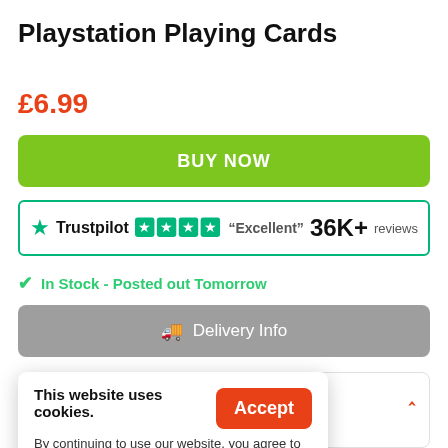Playstation Playing Cards
£6.99
BUY NOW
[Figure (other): Trustpilot widget showing 4.5 star rating, 'Excellent', 36K+ reviews]
In Stock - Posted out Tomorrow
Delivery Info
Overview
This website uses cookies. By continuing to use our website, you agree to our use of cookies.
Accept
Learn More